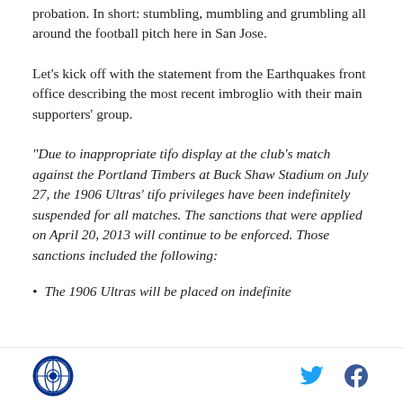probation. In short: stumbling, mumbling and grumbling all around the football pitch here in San Jose.
Let's kick off with the statement from the Earthquakes front office describing the most recent imbroglio with their main supporters' group.
"Due to inappropriate tifo display at the club's match against the Portland Timbers at Buck Shaw Stadium on July 27, the 1906 Ultras' tifo privileges have been indefinitely suspended for all matches. The sanctions that were applied on April 20, 2013 will continue to be enforced. Those sanctions included the following:
The 1906 Ultras will be placed on indefinite